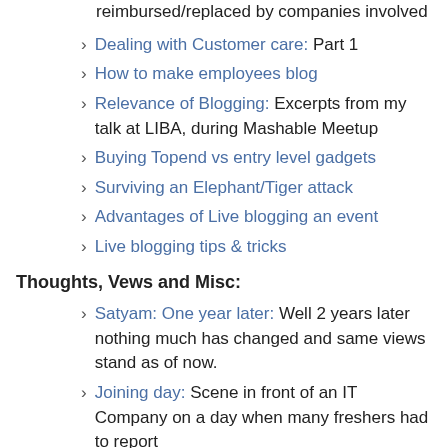reimbursed/replaced by companies involved
Dealing with Customer care: Part 1
How to make employees blog
Relevance of Blogging: Excerpts from my talk at LIBA, during Mashable Meetup
Buying Topend vs entry level gadgets
Surviving an Elephant/Tiger attack
Advantages of Live blogging an event
Live blogging tips & tricks
Thoughts, Vews and Misc:
Satyam: One year later: Well 2 years later nothing much has changed and same views stand as of now.
Joining day: Scene in front of an IT Company on a day when many freshers had to report